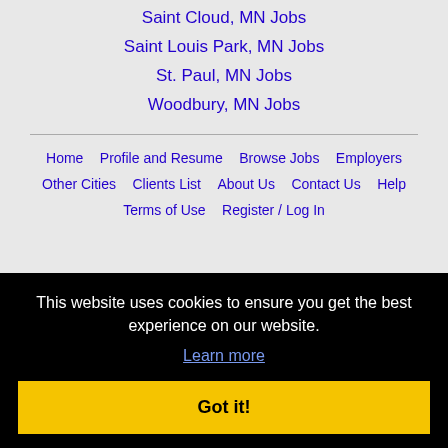Saint Cloud, MN Jobs
Saint Louis Park, MN Jobs
St. Paul, MN Jobs
Woodbury, MN Jobs
Home | Profile and Resume | Browse Jobs | Employers | Other Cities | Clients List | About Us | Contact Us | Help | Terms of Use | Register / Log In
This website uses cookies to ensure you get the best experience on our website. Learn more. Got it!